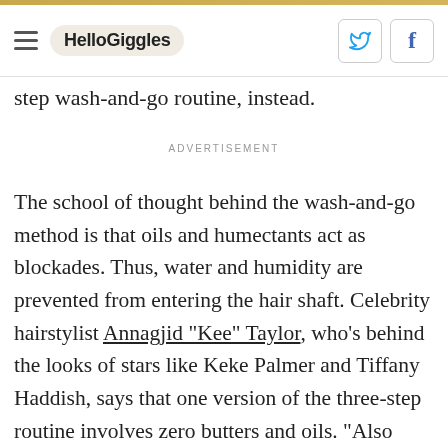HelloGiggles
step wash-and-go routine, instead.
ADVERTISEMENT
The school of thought behind the wash-and-go method is that oils and humectants act as blockades. Thus, water and humidity are prevented from entering the hair shaft. Celebrity hairstylist Annagjid "Kee" Taylor, who's behind the looks of stars like Keke Palmer and Tiffany Haddish, says that one version of the three-step routine involves zero butters and oils. "Also called the 'No Butters, No Oils' method, it's a routine that's three steps: shampoo, conditioner and a water-based gel,"